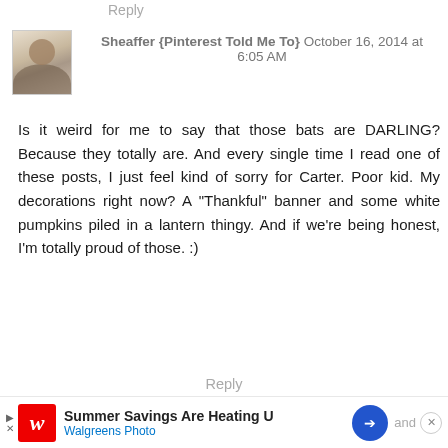Reply
Sheaffer {Pinterest Told Me To} October 16, 2014 at 6:05 AM
Is it weird for me to say that those bats are DARLING? Because they totally are. And every single time I read one of these posts, I just feel kind of sorry for Carter. Poor kid. My decorations right now? A "Thankful" banner and some white pumpkins piled in a lantern thingy. And if we're being honest, I'm totally proud of those. :)
Reply
▾ Replies
Andrea - Momfessionals October 16, 2014 at 9:33 PM
Carter can come hang at my house any time he needs a "Decor fix" and I need to see a pic
Summer Savings Are Heating U — Walgreens Photo